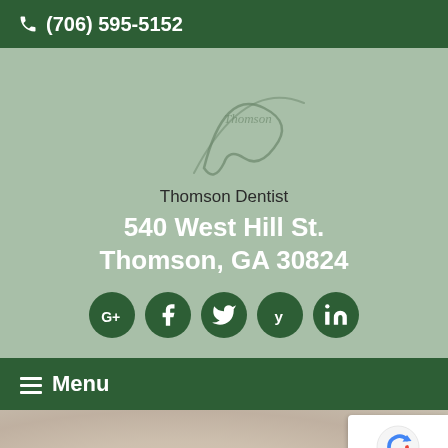(706) 595-5152
[Figure (logo): Decorative dental/tooth logo in muted green, script style illustration]
Thomson Dentist
540 West Hill St.
Thomson, GA 30824
[Figure (infographic): Row of 5 dark green social media icon circles: Google+, Facebook, Twitter, Yelp, LinkedIn]
Menu
[Figure (photo): Blurred background photo at bottom of page, appears to show a person smiling, warm beige tones]
[Figure (other): Google reCAPTCHA badge with spinning arrows logo and Privacy / Terms text]